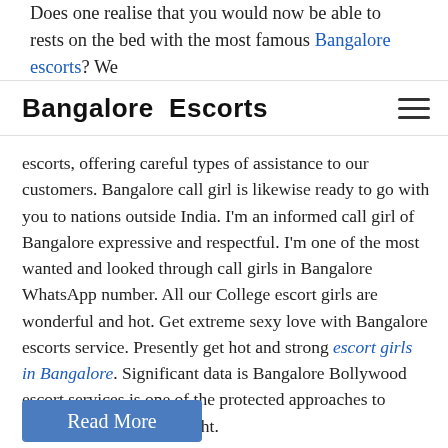Does one realise that you would now be able to rests on the bed with the most famous Bangalore escorts? We
Bangalore  Escorts
escorts, offering careful types of assistance to our customers. Bangalore call girl is likewise ready to go with you to nations outside India. I'm an informed call girl of Bangalore expressive and respectful. I'm one of the most wanted and looked through call girls in Bangalore WhatsApp number. All our College escort girls are wonderful and hot. Get extreme sexy love with Bangalore escorts service. Presently get hot and strong escort girls in Bangalore. Significant data is Bangalore Bollywood escort services is one of the protected approaches to frame some fun and delight.
Read More